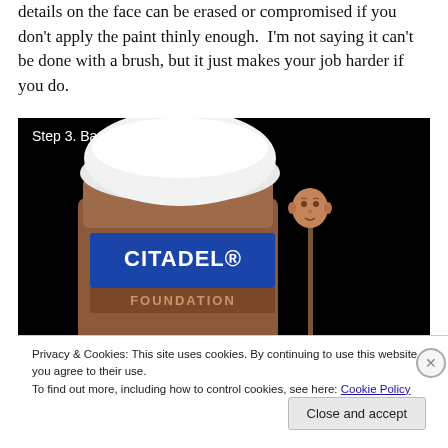details on the face can be erased or compromised if you don't apply the paint thinly enough.  I'm not saying it can't be done with a brush, but it just makes your job harder if you do.
[Figure (photo): Photo of a Citadel Foundation paint pot with white cap on a black background, next to a small painted miniature figure head on a stick. Text overlay reads 'Step 3. Base Coat'.]
Privacy & Cookies: This site uses cookies. By continuing to use this website, you agree to their use.
To find out more, including how to control cookies, see here: Cookie Policy